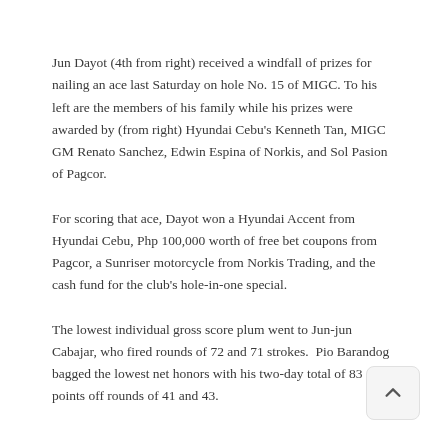Jun Dayot (4th from right) received a windfall of prizes for nailing an ace last Saturday on hole No. 15 of MIGC. To his left are the members of his family while his prizes were awarded by (from right) Hyundai Cebu's Kenneth Tan, MIGC GM Renato Sanchez, Edwin Espina of Norkis, and Sol Pasion of Pagcor.
For scoring that ace, Dayot won a Hyundai Accent from Hyundai Cebu, Php 100,000 worth of free bet coupons from Pagcor, a Sunriser motorcycle from Norkis Trading, and the cash fund for the club's hole-in-one special.
The lowest individual gross score plum went to Jun-jun Cabajar, who fired rounds of 72 and 71 strokes.  Pio Barandog bagged the lowest net honors with his two-day total of 83 points off rounds of 41 and 43.